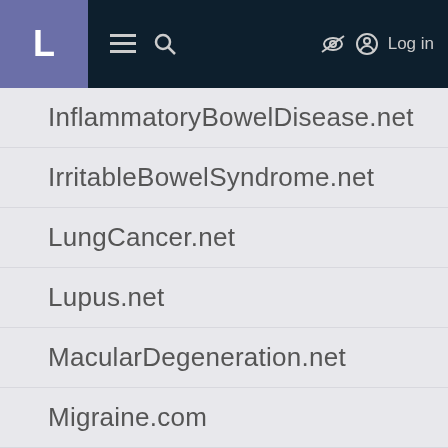L [menu] [search] [hide] Log in
InflammatoryBowelDisease.net
IrritableBowelSyndrome.net
LungCancer.net
Lupus.net
MacularDegeneration.net
Migraine.com
MultipleSclerosis.net
Myasthenia-Gravis.com
Neuromyelitis-Optica.net
ParkinsonsDisease.net
PlaquePsoriasis.com
ProstateCancer.net